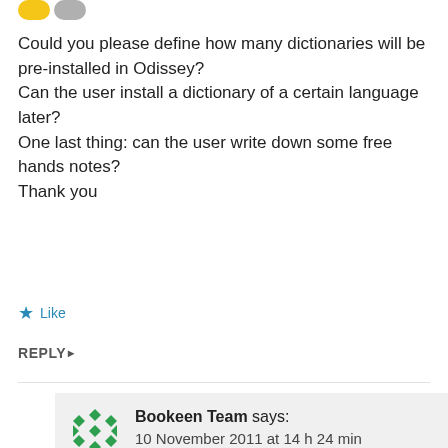[Figure (logo): Two small avatar icons at top left — a yellow pill-shaped icon and a grey pill-shaped icon]
Could you please define how many dictionaries will be pre-installed in Odissey?
Can the user install a dictionary of a certain language later?
One last thing: can the user write down some free hands notes?
Thank you
★ Like
REPLY ▸
[Figure (logo): Bookeen Team avatar — green diamond pattern logo]
Bookeen Team says:
10 November 2011 at 14 h 24 min
Hello Luca,